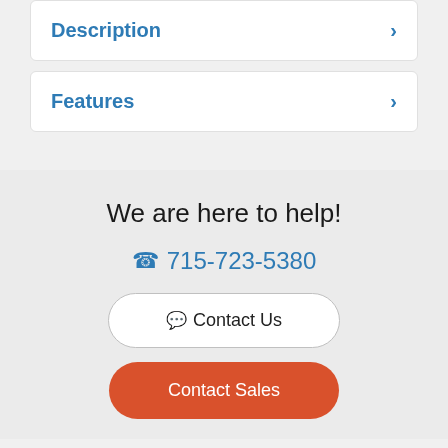Description
Features
We are here to help!
715-723-5380
Contact Us
Contact Sales